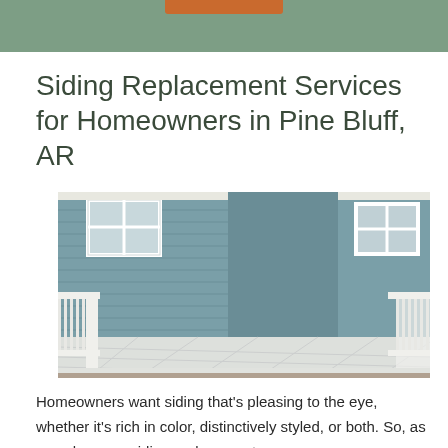Siding Replacement Services for Homeowners in Pine Bluff, AR
[Figure (photo): Photo of a house with blue-green horizontal siding and a white deck with white railing in the foreground]
Homeowners want siding that's pleasing to the eye, whether it's rich in color, distinctively styled, or both. So, as you plan your siding replacement